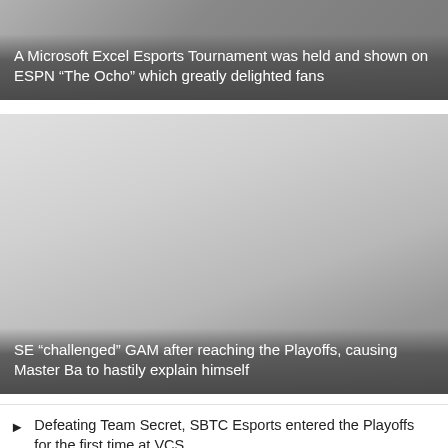[Figure (photo): Card image with dark gradient overlay at bottom]
A Microsoft Excel Esports Tournament was held and shown on ESPN “The Ocho” which greatly delighted fans
[Figure (photo): Card image with dark gradient overlay at bottom, light grey background]
SE “challenged” GAM after reaching the Playoffs, causing Master Ba to hastily explain himself
Defeating Team Secret, SBTC Esports entered the Playoffs for the first time at VCS
LQMB: Guide to climbing Master rank with D’Arcy
LNC Esports win emotionally against V5 at LPL Summer 2022